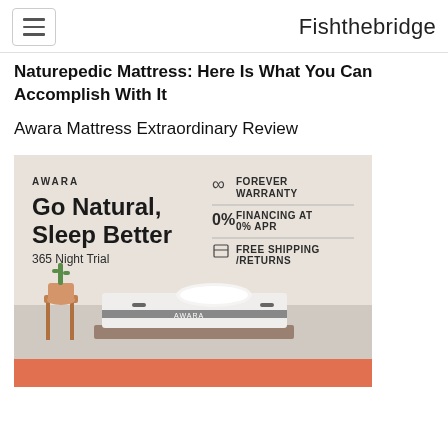Fishthebridge
Naturepedic Mattress: Here Is What You Can Accomplish With It
Awara Mattress Extraordinary Review
[Figure (illustration): Awara mattress advertisement showing 'Go Natural, Sleep Better' headline with 365 Night Trial, Forever Warranty, 0% Financing at 0% APR, and Free Shipping/Returns features. Shows a mattress with pillow and cactus plant on a wooden stool.]